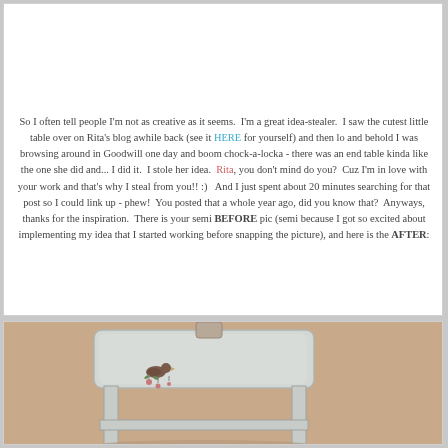So I often tell people I'm not as creative as it seems.  I'm a great idea-stealer.  I saw the cutest little table over on Rita's blog awhile back (see it HERE for yourself) and then lo and behold I was browsing around in Goodwill one day and boom chock-a-locka - there was an end table kinda like the one she did and... I did it.  I stole her idea.  Rita, you don't mind do you?  Cuz I'm in love with your work and that's why I steal from you!! :)   And I just spent about 20 minutes searching for that post so I could link up - phew!  You posted that a whole year ago, did you know that?  Anyways, thanks for the inspiration.  There is your semi BEFORE pic (semi because I got so excited about implementing my idea that I started working before snapping the picture), and here is the AFTER:
[Figure (photo): Photo of a small white painted end table with a bird and floral decal on the tabletop, photographed against a beige/tan background. A dark vase or object is partially visible at top center.]